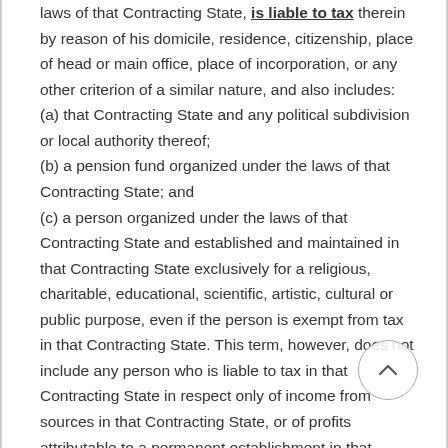laws of that Contracting State, is liable to tax therein by reason of his domicile, residence, citizenship, place of head or main office, place of incorporation, or any other criterion of a similar nature, and also includes:
(a) that Contracting State and any political subdivision or local authority thereof;
(b) a pension fund organized under the laws of that Contracting State; and
(c) a person organized under the laws of that Contracting State and established and maintained in that Contracting State exclusively for a religious, charitable, educational, scientific, artistic, cultural or public purpose, even if the person is exempt from tax in that Contracting State. This term, however, does not include any person who is liable to tax in that Contracting State in respect only of income from sources in that Contracting State, or of profits attributable to a permanent establishment in that Contracting State.